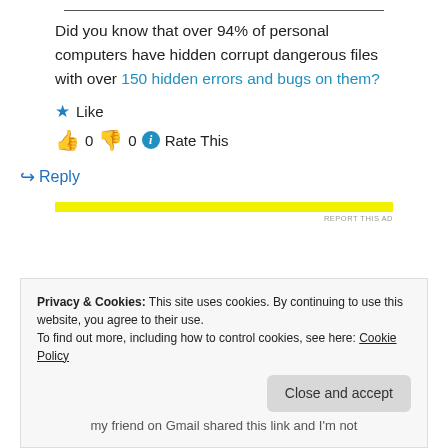Did you know that over 94% of personal computers have hidden corrupt dangerous files with over 150 hidden errors and bugs on them?
★ Like
👍 0 👎 0 ℹ Rate This
↪ Reply
[Figure (other): Yellow ad bar with REPORT THIS AD label]
Privacy & Cookies: This site uses cookies. By continuing to use this website, you agree to their use. To find out more, including how to control cookies, see here: Cookie Policy
Close and accept
my friend on Gmail shared this link and I'm not